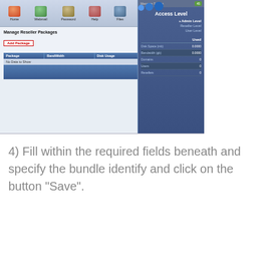[Figure (screenshot): Web hosting control panel screenshot showing 'Manage Reseller Packages' page with an 'Add Package' button, a table with columns Package, Bandwidth, Disk Usage, IPs, Select showing 'No Data to Show', a Delete Selected button, and a right sidebar showing Access Level (Admin Level, Reseller Level, User Level) and Used stats (Disk Space 0.0000, Bandwidth 0.0000, Domains 0, Users 0, Resellers 0)]
4) Fill within the required fields beneath and specify the bundle identify and click on the button "Save".